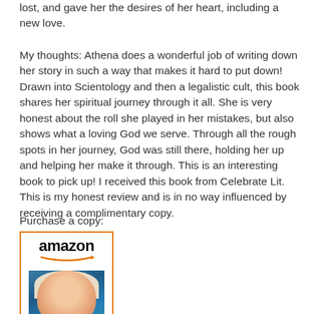lost, and gave her the desires of her heart, including a new love.
My thoughts: Athena does a wonderful job of writing down her story in such a way that makes it hard to put down! Drawn into Scientology and then a legalistic cult, this book shares her spiritual journey through it all. She is very honest about the roll she played in her mistakes, but also shows what a loving God we serve. Through all the rough spots in her journey, God was still there, holding her up and helping her make it through. This is an interesting book to pick up! I received this book from Celebrate Lit. This is my honest review and is in no way influenced by receiving a complimentary copy.
Purchase a copy:
[Figure (illustration): Amazon logo with orange arrow swoosh, followed by a book cover image for 'Full Circle' showing a smiling blonde woman against a teal/blue background]